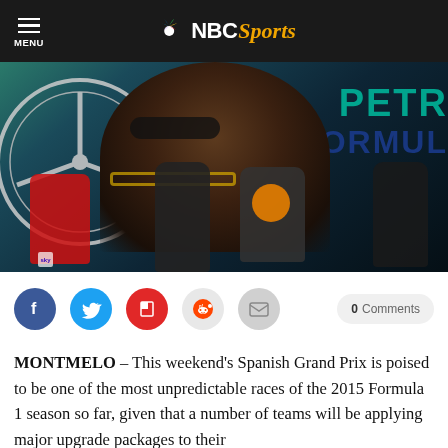NBC Sports
[Figure (photo): Lewis Hamilton wearing sunglasses and a gold chain necklace, speaking into multiple microphones including Sky and RTL, with a Mercedes star logo in the background and PETRONAS/FORMULA branding visible]
0 Comments
MONTMELO – This weekend's Spanish Grand Prix is poised to be one of the most unpredictable races of the 2015 Formula 1 season so far, given that a number of teams will be applying major upgrade packages to their